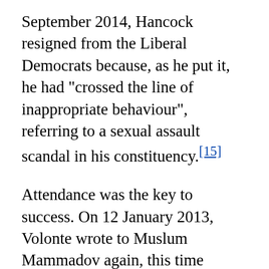September 2014, Hancock resigned from the Liberal Democrats because, as he put it, he had "crossed the line of inappropriate behaviour", referring to a sexual assault scandal in his constituency.[15]
Attendance was the key to success. On 12 January 2013, Volonte wrote to Muslum Mammadov again, this time worried about attendance at an EPP dinner on 20 January on the eve of the PACE vote on political prisoners: "I told Pedro [Agramunt] and [Luigi] Vitali that if you know others, invite them to come." He suggested that Mammadov ensure that German PACE member Axel Fischer from the CDU attended